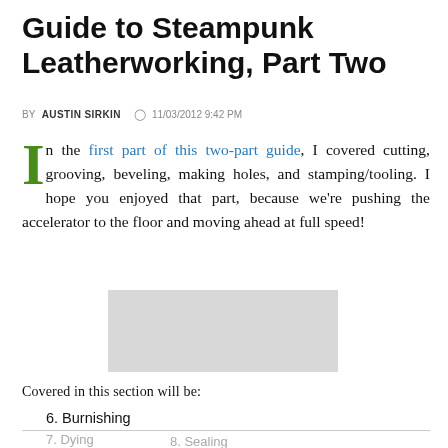Guide to Steampunk Leatherworking, Part Two
BY AUSTIN SIRKIN  ⊙ 11/03/2012 9:42 PM
In the first part of this two-part guide, I covered cutting, grooving, beveling, making holes, and stamping/tooling. I hope you enjoyed that part, because we're pushing the accelerator to the floor and moving ahead at full speed!
[Figure (photo): Gray placeholder image box]
Covered in this section will be:
6. Burnishing
7. Dying
8. Sealing
9. Riveting